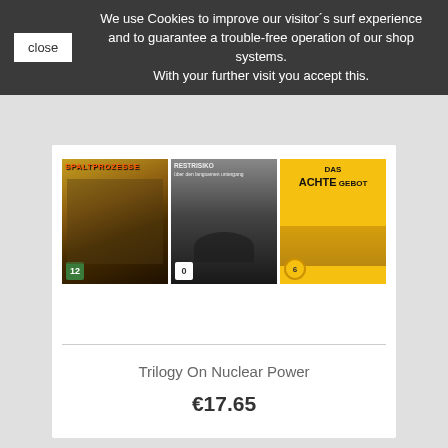We use Cookies to improve our visitor´s surf experience and to guarantee a trouble-free operation of our shop systems. With your further visit you accept this.
[Figure (photo): Three DVD covers: Spaltprozesse (rated 12), Restrisiko (rated 0), Das Achte Gebot (rated 6)]
Trilogy On Nuclear Power
€17.65
[Figure (photo): Partial view of a DVD cover showing 'GEKAUFTE WAHRHEIT' title on a dark background with wheat/grain imagery]